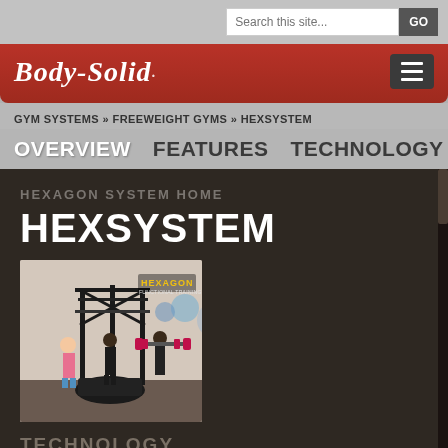Search this site... GO
[Figure (logo): Body-Solid brand logo in white italic script on red background with hamburger menu icon]
GYM SYSTEMS » FREEWEIGHT GYMS » HEXSYSTEM
OVERVIEW   FEATURES   TECHNOLOGY
HEXAGON SYSTEM HOME
HEXSYSTEM
[Figure (photo): Photo of the Hexagon functional training system gym equipment with multiple people exercising, HEXAGON logo overlay in yellow text]
TECHNOLOGY